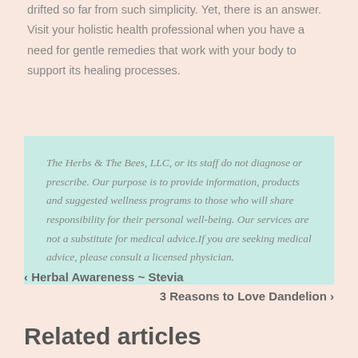drifted so far from such simplicity. Yet, there is an answer. Visit your holistic health professional when you have a need for gentle remedies that work with your body to support its healing processes.
The Herbs & The Bees, LLC, or its staff do not diagnose or prescribe. Our purpose is to provide information, products and suggested wellness programs to those who will share responsibility for their personal well-being. Our services are not a substitute for medical advice.If you are seeking medical advice, please consult a licensed physician.
‹ Herbal Awareness ~ Stevia
3 Reasons to Love Dandelion ›
Related articles